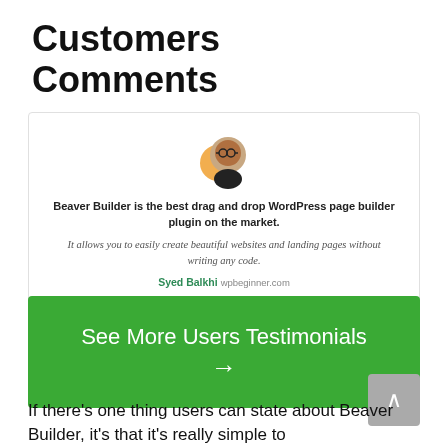Customers Comments
[Figure (infographic): Testimonial card with avatar image (person with orange/gold abstract shape background), bold quote, italic description, author name in green (Syed Balkhi), and website (wpbeginner.com). Carousel dots below.]
[Figure (infographic): Green CTA button reading 'See More Users Testimonials' with a right arrow below the text.]
If there's one thing users can state about Beaver Builder, it's that it's really simple to